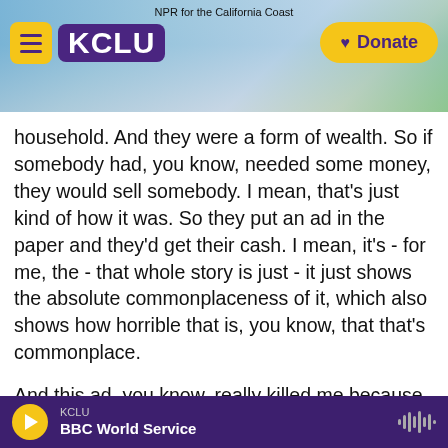[Figure (screenshot): KCLU NPR radio station website header. Shows hamburger menu button and KCLU logo in purple on left, 'NPR for the California Coast' tagline center, yellow Donate button on right, over a coastal cityscape background photo.]
household. And they were a form of wealth. So if somebody had, you know, needed some money, they would sell somebody. I mean, that's just kind of how it was. So they put an ad in the paper and they'd get their cash. I mean, it's - for me, the - that whole story is just - it just shows the absolute commonplaceness of it, which also shows how horrible that is, you know, that that's commonplace.
And this ad, you know, really killed me because at the end of it, it says she has with her a 9-month-old baby who was at the purchaser's option. And I just started thinking about what this young woman -
KCLU BBC World Service